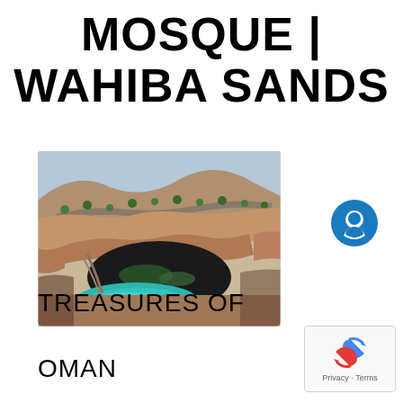MOSQUE | WAHIBA SANDS
[Figure (photo): Aerial photograph of a large sinkhole or cave opening in rocky desert terrain with a turquoise pool of water at the bottom, surrounded by arid hills with scattered trees]
TREASURES OF OMAN